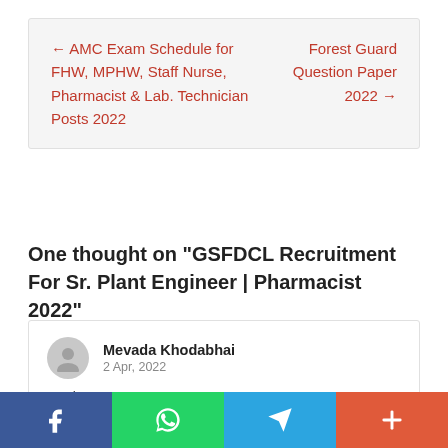← AMC Exam Schedule for FHW, MPHW, Staff Nurse, Pharmacist & Lab. Technician Posts 2022
Forest Guard Question Paper 2022 →
One thought on "GSFDCL Recruitment For Sr. Plant Engineer | Pharmacist 2022"
Mevada Khodabhai
2 Apr, 2022
Reply ↓